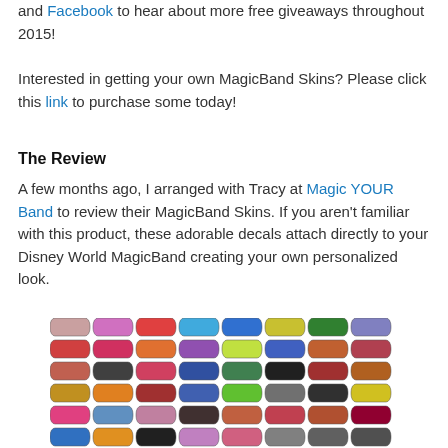and Facebook to hear about more free giveaways throughout 2015!
Interested in getting your own MagicBand Skins? Please click this link to purchase some today!
The Review
A few months ago, I arranged with Tracy at Magic YOUR Band to review their MagicBand Skins. If you aren't familiar with this product, these adorable decals attach directly to your Disney World MagicBand creating your own personalized look.
[Figure (photo): A grid of colorful MagicBand skins showing various designs and patterns arranged in approximately 6 rows and 8 columns.]